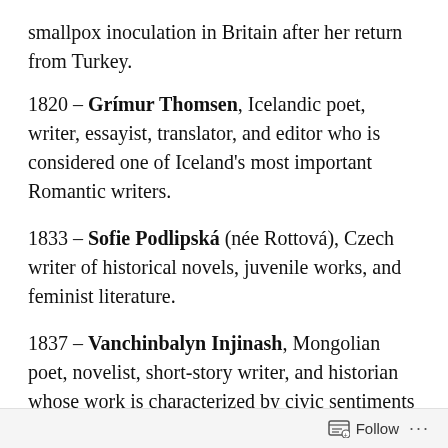smallpox inoculation in Britain after her return from Turkey.
1820 – Grímur Thomsen, Icelandic poet, writer, essayist, translator, and editor who is considered one of Iceland's most important Romantic writers.
1833 – Sofie Podlipská (née Rottová), Czech writer of historical novels, juvenile works, and feminist literature.
1837 – Vanchinbalyn Injinash, Mongolian poet, novelist, short-story writer, and historian whose work is characterized by civic sentiments and strong social criticism.
1856 – L. Frank Baum, American children's author
Follow